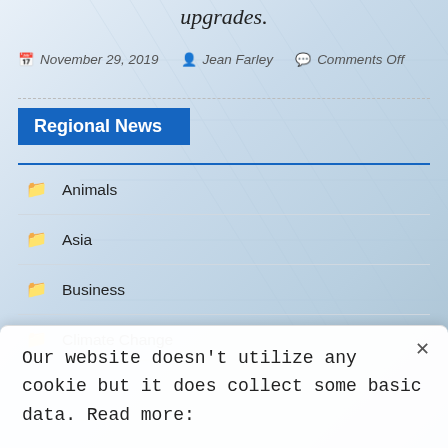upgrades.
November 29, 2019  Jean Farley  Comments Off
Regional News
Animals
Asia
Business
Climate Change
Our website doesn't utilize any cookie but it does collect some basic data. Read more: